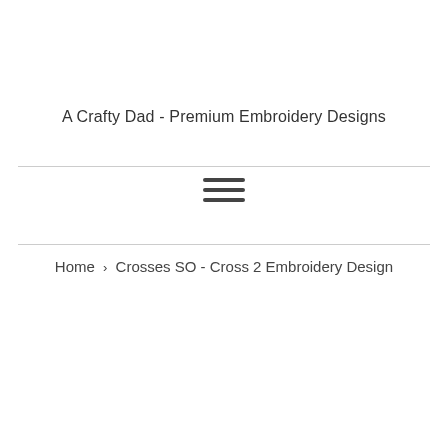A Crafty Dad - Premium Embroidery Designs
[Figure (other): Hamburger menu icon with three horizontal bars]
Home › Crosses SO - Cross 2 Embroidery Design